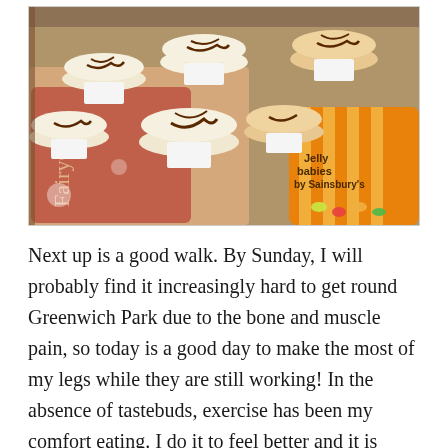[Figure (photo): Photo of multiple golden cupcakes with chocolate drizzle on top, arranged on a decorative tray, with an orange Sainsbury's jelly babies candy bag visible on the right side.]
Next up is a good walk. By Sunday, I will probably find it increasingly hard to get round Greenwich Park due to the bone and muscle pain, so today is a good day to make the most of my legs while they are still working! In the absence of tastebuds, exercise has been my comfort eating. I do it to feel better and it is certainly